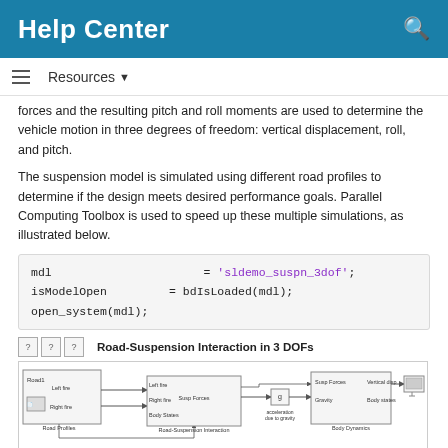Help Center
Resources
forces and the resulting pitch and roll moments are used to determine the vehicle motion in three degrees of freedom: vertical displacement, roll, and pitch.
The suspension model is simulated using different road profiles to determine if the design meets desired performance goals. Parallel Computing Toolbox is used to speed up these multiple simulations, as illustrated below.
mdl = 'sldemo_suspn_3dof';
isModelOpen = bdIsLoaded(mdl);
open_system(mdl);
[Figure (schematic): Simulink block diagram titled 'Road-Suspension Interaction in 3 DOFs' showing Road Profiles block connected to Road-Suspension Interaction block, which connects to a gravity block and Body Dynamics block with outputs for Vertical disp and Body states.]